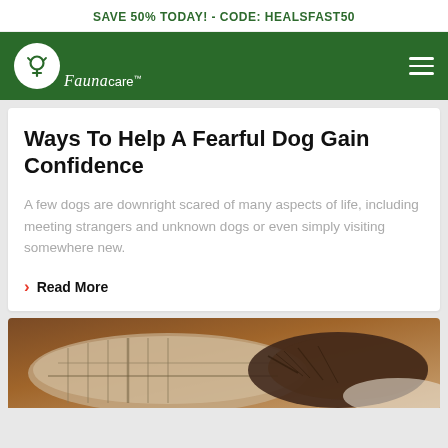SAVE 50% TODAY! - CODE: HEALSFAST50
[Figure (logo): Faunacare logo: white circle with stylized dog icon on dark green navigation bar, with hamburger menu icon on right]
Ways To Help A Fearful Dog Gain Confidence
A few dogs are downright scared of many aspects of life, including meeting strangers and unknown dogs or even simply visiting somewhere new.
› Read More
[Figure (photo): Close-up photo of a dog resting on a pillow/blanket, warm brown tones]